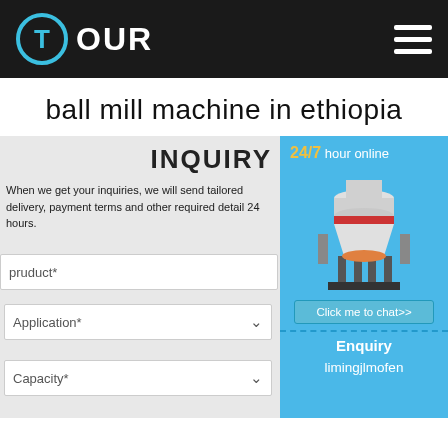TOUR
ball mill machine in ethiopia
INQUIRY
When we get your inquiries, we will send tailored delivery, payment terms and other required detail 24 hours.
pruduct*
Application*
Capacity*
[Figure (screenshot): Sidebar with 24/7 hour online text, cone crusher machine image, Click me to chat>> button, Enquiry label, and limingjlmofen text on blue background]
24/7 hour online
Click me to chat>>
Enquiry
limingjlmofen